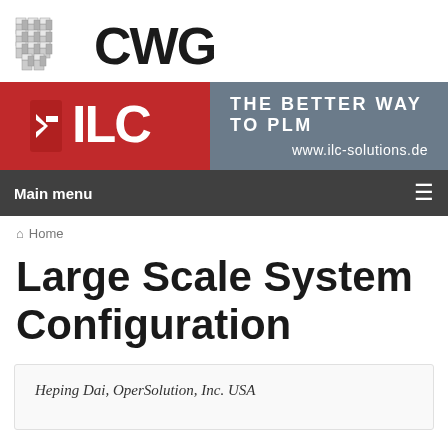[Figure (logo): CWG logo with grid-of-cubes icon and bold CWG text, followed by ILC banner with red ILC logo box and gray background with slogan THE BETTER WAY TO PLM and URL www.ilc-solutions.de]
Main menu
Home
Large Scale System Configuration
Heping Dai, OperSolution, Inc. USA